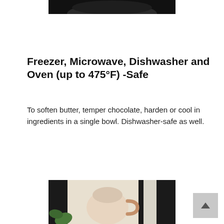[Figure (photo): Partial top portion of a dark/black product image cropped at the top of the page]
Freezer, Microwave, Dishwasher and Oven (up to 475°F) -Safe
To soften butter, temper chocolate, harden or cool in ingredients in a single bowl. Dishwasher-safe as well.
[Figure (photo): A light pink/beige ceramic mug being held up near a window with plants visible in the background, with dark vertical framing elements]
[Figure (other): Back to top button (scroll-up arrow icon) in gray]